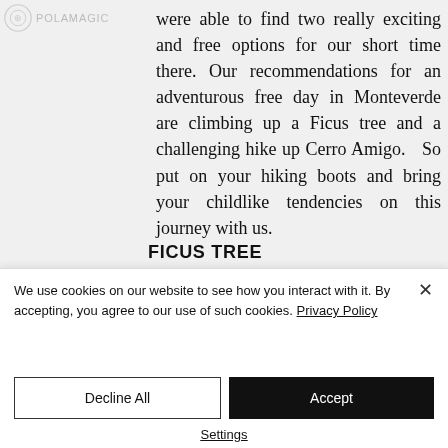Polamagic
were able to find two really exciting and free options for our short time there. Our recommendations for an adventurous free day in Monteverde are climbing up a Ficus tree and a challenging hike up Cerro Amigo. So put on your hiking boots and bring your childlike tendencies on this journey with us.
FICUS TREE
We use cookies on our website to see how you interact with it. By accepting, you agree to our use of such cookies. Privacy Policy
Decline All
Accept
Settings